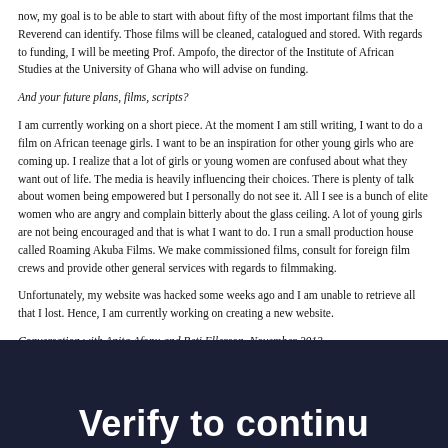now, my goal is to be able to start with about fifty of the most important films that the Reverend can identify. Those films will be cleaned, catalogued and stored. With regards to funding, I will be meeting Prof. Ampofo, the director of the Institute of African Studies at the University of Ghana who will advise on funding.
And your future plans, films, scripts?
I am currently working on a short piece. At the moment I am still writing, I want to do a film on African teenage girls. I want to be an inspiration for other young girls who are coming up. I realize that a lot of girls or young women are confused about what they want out of life. The media is heavily influencing their choices. There is plenty of talk about women being empowered but I personally do not see it. All I see is a bunch of elite women who are angry and complain bitterly about the glass ceiling. A lot of young girls are not being encouraged and that is what I want to do. I run a small production house called Roaming Akuba Films. We make commissioned films, consult for foreign film crews and provide other general services with regards to filmmaking.
Unfortunately, my website was hacked some weeks ago and I am unable to retrieve all that I lost. Hence, I am currently working on creating a new website.
Conversation with Anita Afonu and Beti Ellerson, November 2013
Sommaire en Français
[Figure (other): Dark navy blue footer bar with large white bold text reading 'Verify to continue']